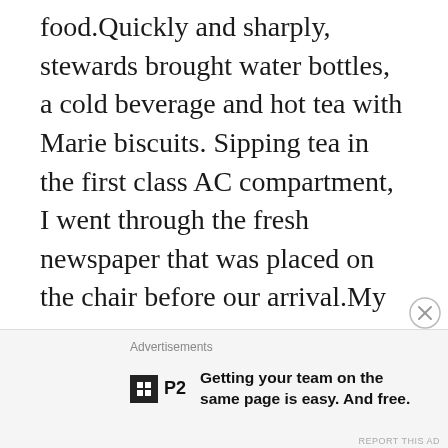food.Quickly and sharply, stewards brought water bottles, a cold beverage and hot tea with Marie biscuits. Sipping tea in the first class AC compartment, I went through the fresh newspaper that was placed on the chair before our arrival.My newspaper coverage was interrupted midway by the service boy.“Do you want cornflakes?”Thinking “This seems to be the ‘Executive Class addition”, I replied, “Yes, please”.A bowl and a packet of cornflakes were placed in a tray. The guy poured some milk in the bowl and I was ready to feast. Another surprise, a banana,
Advertisements
P2 Getting your team on the same page is easy. And free.